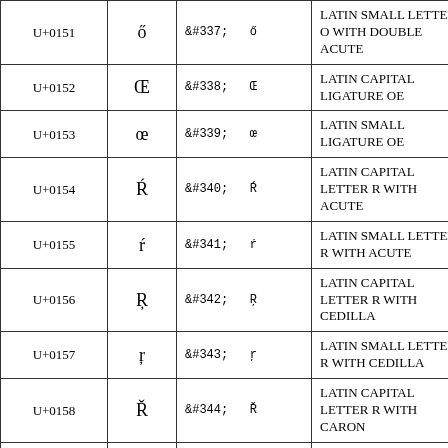| Code | Char | HTML Entity | Description |
| --- | --- | --- | --- |
| U+0151 | ő | &#337;   ő | LATIN SMALL LETTER O WITH DOUBLE ACUTE |
| U+0152 | Œ | &#338;   Œ | LATIN CAPITAL LIGATURE OE |
| U+0153 | œ | &#339;   œ | LATIN SMALL LIGATURE OE |
| U+0154 | Ŕ | &#340;   Ŕ | LATIN CAPITAL LETTER R WITH ACUTE |
| U+0155 | ŕ | &#341;   ŕ | LATIN SMALL LETTER R WITH ACUTE |
| U+0156 | Ŗ | &#342;   Ŗ | LATIN CAPITAL LETTER R WITH CEDILLA |
| U+0157 | ŗ | &#343;   ŗ | LATIN SMALL LETTER R WITH CEDILLA |
| U+0158 | Ř | &#344;   Ř | LATIN CAPITAL LETTER R WITH CARON |
| U+0159 | ř | &#345;   ř | LATIN SMALL LETTER R WITH CARON |